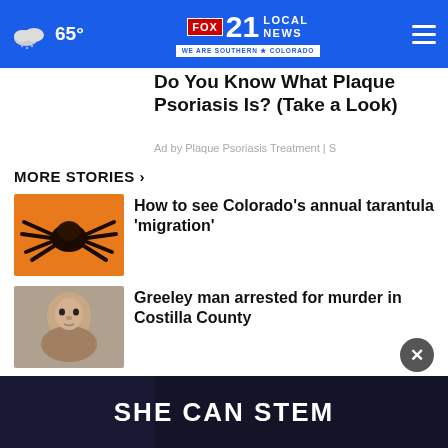65° FOX 21 LOCAL NEWS WE ARE SOUTHERN COLORADO
Do You Know What Plaque Psoriasis Is? (Take a Look)
Ad by Plaque Psoriasis Treatment | S
MORE STORIES ›
[Figure (photo): Tarantula spider on orange surface]
How to see Colorado's annual tarantula 'migration'
[Figure (photo): Mugshot of a man — Greeley man arrested for murder]
Greeley man arrested for murder in Costilla County
[Figure (photo): Dark blue collage image related to cold case Kenneth Hatcher]
COLD CASE: Who killed Kenneth Hatcher?
[Figure (photo): SHE CAN STEM advertisement banner]
SHE CAN STEM